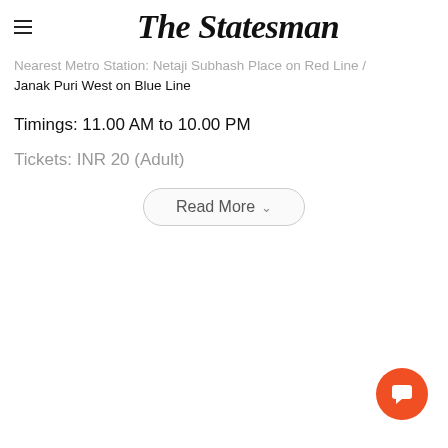The Statesman
Nearest Metro Station: Netaji Subhash Place on Red Line / Janak Puri West on Blue Line
Timings: 11.00 AM to 10.00 PM
Tickets: INR 20 (Adult)
[Figure (other): Read More button with dropdown chevron]
[Figure (other): Orange circular chat/comment button in bottom right corner]